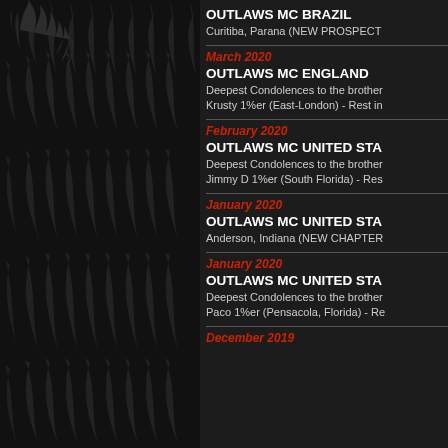[Figure (illustration): Dark background with repeating grey flame pattern decorating the left panel of the page]
OUTLAWS MC BRAZIL
Curitiba, Parana (NEW PROSPECT
March 2020
OUTLAWS MC ENGLAND
Deepest Condolences to the brother
Krusty 1%er (East-London) - Rest in
February 2020
OUTLAWS MC UNITED STA
Deepest Condolences to the brother
Jimmy D 1%er (South Florida) - Res
January 2020
OUTLAWS MC UNITED STA
Anderson, Indiana (NEW CHAPTER
January 2020
OUTLAWS MC UNITED STA
Deepest Condolences to the brother
Paco 1%er (Pensacola, Florida) - Re
December 2019